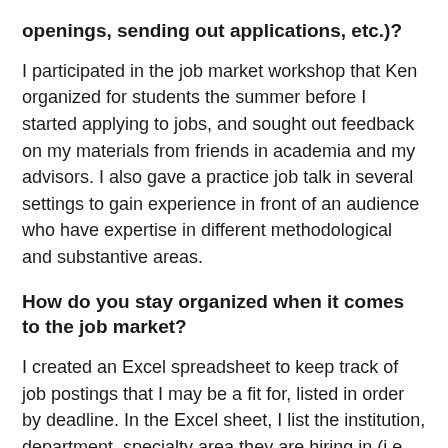openings, sending out applications, etc.)?
I participated in the job market workshop that Ken organized for students the summer before I started applying to jobs, and sought out feedback on my materials from friends in academia and my advisors. I also gave a practice job talk in several settings to gain experience in front of an audience who have expertise in different methodological and substantive areas.
How do you stay organized when it comes to the job market?
I created an Excel spreadsheet to keep track of job postings that I may be a fit for, listed in order by deadline. In the Excel sheet, I list the institution, department, specialty area they are hiring in (i.e. Criminology, Race/Ethnicity, Gender, etc.), link to the job posting on ASA's website, submission link, job ID (from ASA's postings), what materials are required, how letters should be submitted (some require your recommender sends